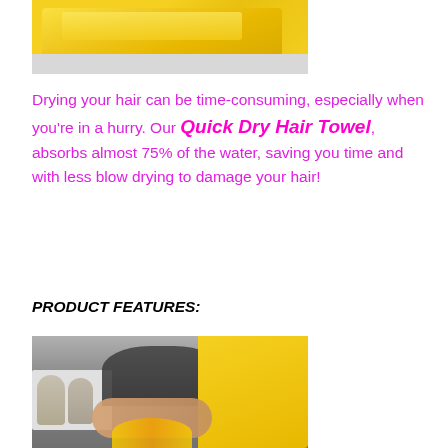[Figure (photo): Yellow folded towel on a gray surface, viewed from above at an angle.]
Drying your hair can be time-consuming, especially when you’re in a hurry. Our Quick Dry Hair Towel, absorbs almost 75% of the water, saving you time and with less blow drying to damage your hair!
PRODUCT FEATURES:
[Figure (photo): Person wrapping yellow hair towel around dark hair, with small decorative dolls on a shelf and sunflowers in the foreground.]